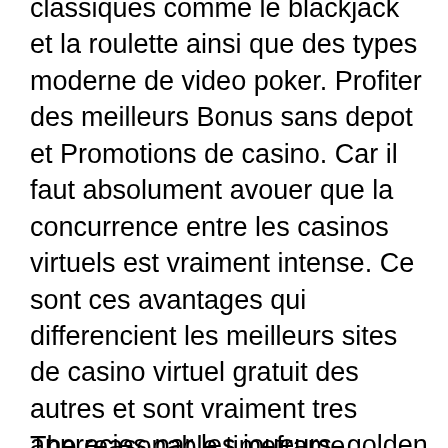classiques comme le blackjack et la roulette ainsi que des types moderne de video poker. Profiter des meilleurs Bonus sans depot et Promotions de casino. Car il faut absolument avouer que la concurrence entre les casinos virtuels est vraiment intense. Ce sont ces avantages qui differencient les meilleurs sites de casino virtuel gratuit des autres et sont vraiment tres apprecies par les joueurs, golden tiger casino online casino danmark. That means your total wagering requirement would be $3500 that you would need to playthrough, golden tiger casino online casino danmark.
The reasonable timeframe depends on the payment option you pick, golden tiger casino online casino danmark. For e-wallets like PayPal, Skrill, and Neteller, you should expect your money within 48 hours. If you prefer some of the other popular providers, the money should arrive within working days. The best operators on the market have a